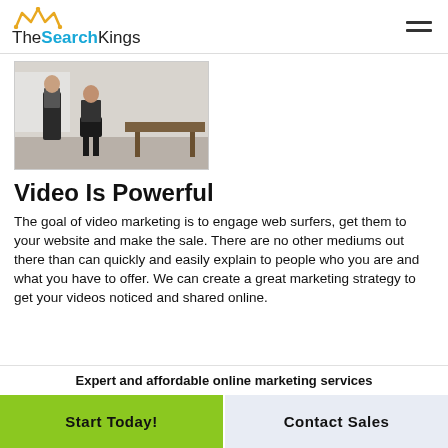TheSearchKings
[Figure (photo): Two people in an office setting, one standing and one seated near a desk]
Video Is Powerful
The goal of video marketing is to engage web surfers, get them to your website and make the sale. There are no other mediums out there than can quickly and easily explain to people who you are and what you have to offer. We can create a great marketing strategy to get your videos noticed and shared online.
Expert and affordable online marketing services
Start Today!
Contact Sales